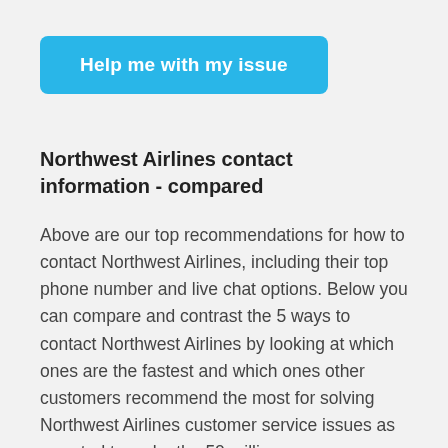[Figure (other): A blue rounded rectangle button labeled 'Help me with my issue' in white bold text]
Northwest Airlines contact information - compared
Above are our top recommendations for how to contact Northwest Airlines, including their top phone number and live chat options. Below you can compare and contrast the 5 ways to contact Northwest Airlines by looking at which ones are the fastest and which ones other customers recommend the most for solving Northwest Airlines customer service issues as reported to us by the 50 million or so customers that come to GetHuman each year and